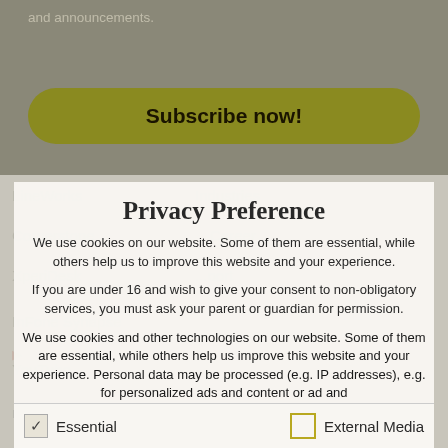and announcements.
[Figure (screenshot): Subscribe now! button with olive/dark yellow rounded rectangle background]
Privacy Preference
We use cookies on our website. Some of them are essential, while others help us to improve this website and your experience.
If you are under 16 and wish to give your consent to non-obligatory services, you must ask your parent or guardian for permission.
We use cookies and other technologies on our website. Some of them are essential, while others help us improve this website and your experience. Personal data may be processed (e.g. IP addresses), e.g. for personalized ads and content or ad and
Essential
External Media